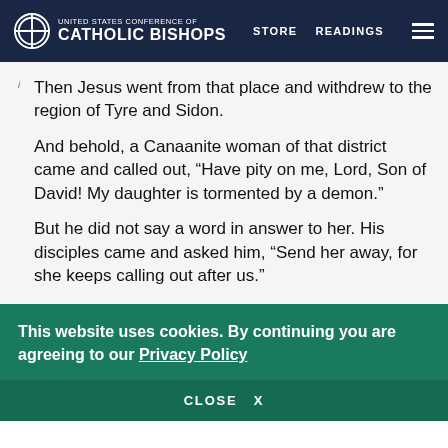United States Conference of Catholic Bishops — STORE   READINGS
i Then Jesus went from that place and withdrew to the region of Tyre and Sidon.
2 And behold, a Canaanite woman of that district came and called out, “Have pity on me, Lord, Son of David! My daughter is tormented by a demon.”
3 But he did not say a word in answer to her. His disciples came and asked him, “Send her away, for she keeps calling out after us.”
This website uses cookies. By continuing you are agreeing to our Privacy Policy
CLOSE  X